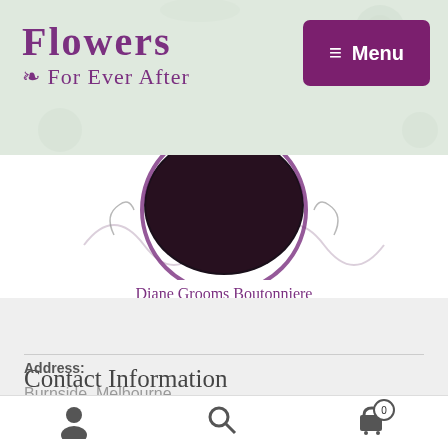[Figure (logo): Flowers For Ever After logo in purple decorative font on light green floral background, with purple Menu button top right]
[Figure (photo): Diane Grooms Boutonniere product image - circular purple and dark floral arrangement on white background]
Diane Grooms Boutonniere
[Figure (other): Select options button - dark purple rounded rectangle button with white text]
Contact Information
Address:
Burnside, Melbourne
Bottom navigation bar with user icon, search icon, and cart icon with badge showing 0